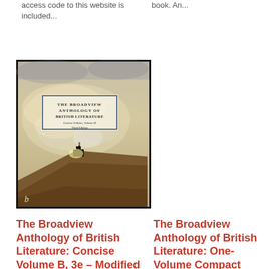access code to this website is included...
book. An...
[Figure (photo): Book cover of The Broadview Anthology of British Literature: Concise Edition, Volume B, Third Edition. Features a Turner-style painting of a steam train in misty landscape with warm ochre and grey tones. The Broadview logo is visible at the bottom left.]
The Broadview Anthology of British Literature: Concise Volume B, 3e – Modified
The Broadview Anthology of British Literature: One-Volume Compact Edition